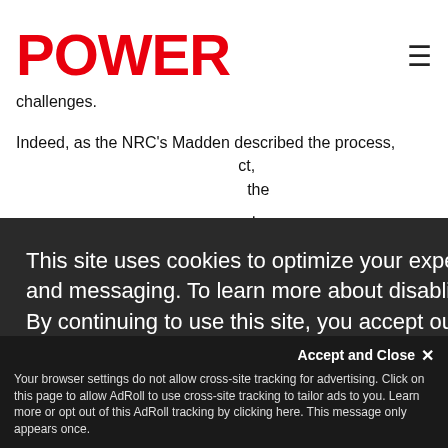POWER
challenges.
Indeed, as the NRC's Madden described the process, ... ct, ... the ...
This site uses cookies to optimize your experience including more relevant content and messaging. To learn more about disabling cookies in your browser, click here. By continuing to use this site, you accept our use of cookies. For more information, view our updated Privacy Policy.
I consent
Accept and Close ✕
Your browser settings do not allow cross-site tracking for advertising. Click on this page to allow AdRoll to use cross-site tracking to tailor ads to you. Learn more or opt out of this AdRoll tracking by clicking here. This message only appears once.